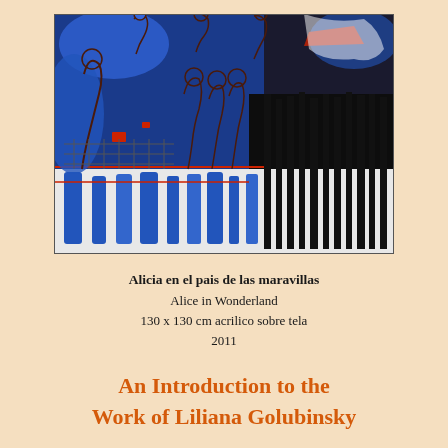[Figure (illustration): Painting of Alice in Wonderland scene with abstract figures, blue and black colors, multiple characters in a surreal setting with vertical stripes in lower half]
Alicia en el pais de las maravillas
Alice in Wonderland
130 x 130 cm acrilico sobre tela
2011
An Introduction to the Work of Liliana Golubinsky